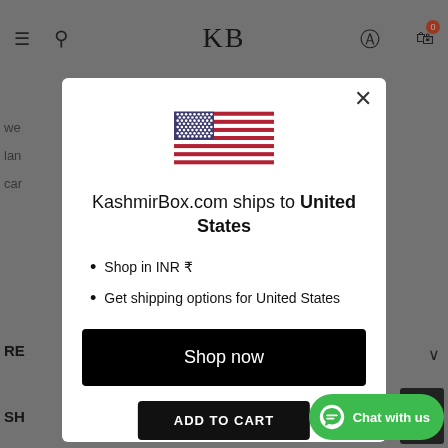[Figure (screenshot): Website modal dialog showing KashmirBox.com ships to United States, with US flag, bullet points about INR currency and shipping options, a Shop now button, and a Change shipping country link. Background shows a dimmed e-commerce website header with KB logo.]
KashmirBox.com ships to United States
Shop in INR ₹
Get shipping options for United States
Shop now
Change shipping country
ADD TO CART
Chat with us